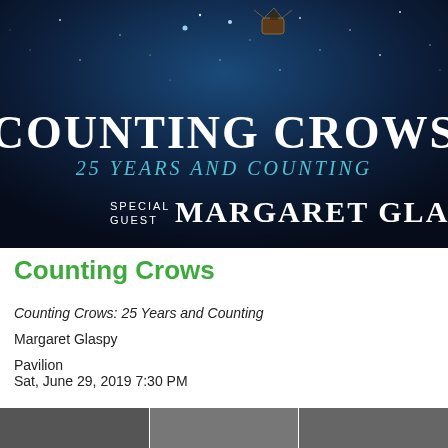[Figure (photo): Concert promotional image for Counting Crows: 25 Years and Counting tour, featuring a dark night sky with stars, a hot air balloon basket, and text 'COUNTING CROWS 25 YEARS AND COUNTING SPECIAL GUEST MARGARET GLASPY']
Counting Crows
Counting Crows: 25 Years and Counting
Margaret Glaspy
Pavilion
Sat, June 29, 2019 7:30 PM
[Figure (photo): Bottom strip of small thumbnail photos related to the event]